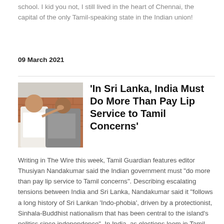school. I kid you not, I still lived in the heart of Chennai, the capital of the only Tamil-speaking state in the Indian union!
09 March 2021
[Figure (photo): Two people standing outside, one raising hand to mouth of the other, brick wall in background]
'In Sri Lanka, India Must Do More Than Pay Lip Service to Tamil Concerns'
Writing in The Wire this week, Tamil Guardian features editor Thusiyan Nandakumar said the Indian government must “do more than pay lip service to Tamil concerns”. Describing escalating tensions between India and Sri Lanka, Nandakumar said it “follows a long history of Sri Lankan ‘Indo-phobia’, driven by a protectionist, Sinhala-Buddhist nationalism that has been central to the island’s politics since independence”. In India, as elections loom in Tamil Nadu, “outrage over Sri Lanka’s actions